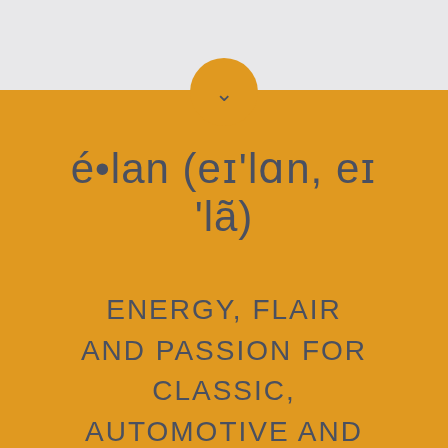[Figure (illustration): Orange rounded tab/button with chevron down arrow on a light grey background, indicating a scroll or expand action.]
é•lan (eɪ'lɑn, eɪ 'lã)
ENERGY, FLAIR AND PASSION FOR CLASSIC, AUTOMOTIVE AND MOTORSPORT SECTORS.